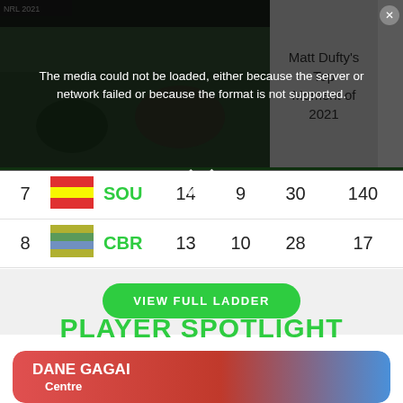[Figure (screenshot): Video player showing a rugby match with an error overlay message: 'The media could not be loaded, either because the server or network failed or because the format is not supported.' A side panel shows 'Matt Dufty's Top Moment of 2021' title.]
| # | Team | Abbr | W | L | Pts | Pts+ |
| --- | --- | --- | --- | --- | --- | --- |
| 7 | SOU logo | SOU | 14 | 9 | 30 | 140 |
| 8 | CBR logo | CBR | 13 | 10 | 28 | 17 |
VIEW FULL LADDER
PLAYER SPOTLIGHT
[Figure (infographic): Player spotlight card for Dane Gagai, Centre, Knights. Red/blue gradient background with player image and team strip colours (blue, red, blue).]